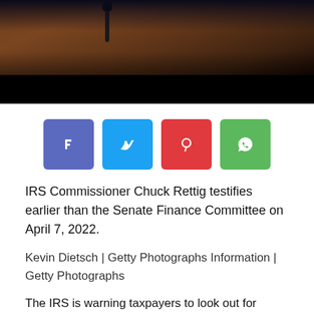[Figure (photo): Photo of IRS Commissioner Chuck Rettig testifying before the Senate Finance Committee; shows a wooden desk or bench in a hearing room setting, dark background.]
[Figure (infographic): Four social media share buttons: Facebook (purple-blue), Twitter (light blue), Pinterest (red), WhatsApp (green).]
IRS Commissioner Chuck Rettig testifies earlier than the Senate Finance Committee on April 7, 2022.
Kevin Dietsch | Getty Photographs Information | Getty Photographs
The IRS is warning taxpayers to look out for scams involving pretend job gives, tax refunds and pandemic-era advantages like stimulus checks, as criminals proceed to make use of the continuing well being disaster to steal money and knowledge.